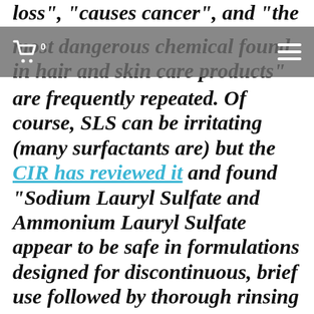loss", "causes cancer", and "the most dangerous chemical found in hair and skin care products" are frequently repeated. Of course, SLS can be irritating (many surfactants are) but the CIR has reviewed it and found “Sodium Lauryl Sulfate and Ammonium Lauryl Sulfate appear to be safe in formulations designed for discontinuous, brief use followed by thorough rinsing from the surface of the skin. In